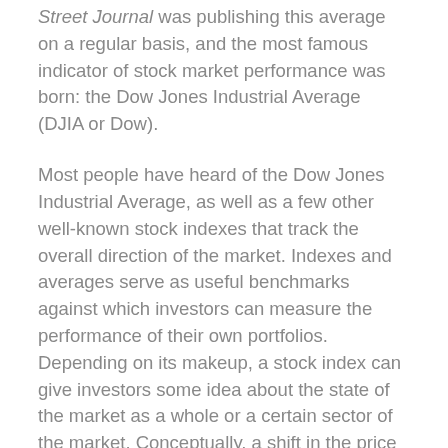Street Journal was publishing this average on a regular basis, and the most famous indicator of stock market performance was born: the Dow Jones Industrial Average (DJIA or Dow).
Most people have heard of the Dow Jones Industrial Average, as well as a few other well-known stock indexes that track the overall direction of the market. Indexes and averages serve as useful benchmarks against which investors can measure the performance of their own portfolios. Depending on its makeup, a stock index can give investors some idea about the state of the market as a whole or a certain sector of the market. Conceptually, a shift in the price of an index represents an equitable change in the stocks included in the index.
Basically, indexes are imaginary portfolios of securities that represent a particular market or section of the market. Each index has its own method of calculating a change in its base value.